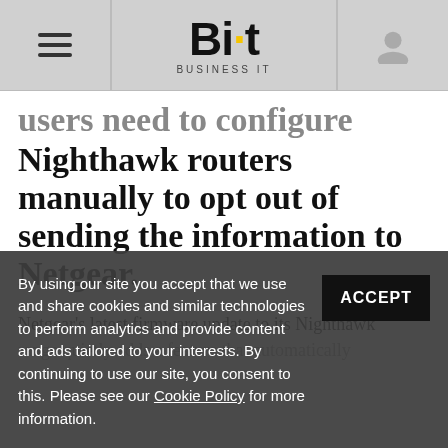Bit Business IT
users need to configure Nighthawk routers manually to opt out of sending the information to Netgear.
Netgear's latest firmware update to its Nighthawk range quietly adds a feature that automatically
By using our site you accept that we use and share cookies and similar technologies to perform analytics and provide content and ads tailored to your interests. By continuing to use our site, you consent to this. Please see our Cookie Policy for more information.